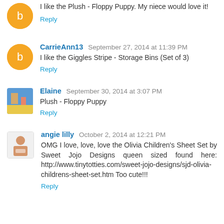I like the Plush - Floppy Puppy. My niece would love it!
Reply
CarrieAnn13  September 27, 2014 at 11:39 PM
I like the Giggles Stripe - Storage Bins (Set of 3)
Reply
Elaine  September 30, 2014 at 3:07 PM
Plush - Floppy Puppy
Reply
angie lilly  October 2, 2014 at 12:21 PM
OMG I love, love, love the Olivia Children's Sheet Set by Sweet Jojo Designs queen sized found here: http://www.tinytotties.com/sweet-jojo-designs/sjd-olivia-childrens-sheet-set.htm Too cute!!!
Reply